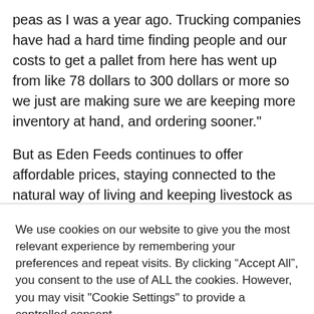peas as I was a year ago. Trucking companies have had a hard time finding people and our costs to get a pallet from here has went up from like 78 dollars to 300 dollars or more so we just are making sure we are keeping more inventory at hand, and ordering sooner."
But as Eden Feeds continues to offer affordable prices, staying connected to the natural way of living and keeping livestock as healthy as possible remains important.
We use cookies on our website to give you the most relevant experience by remembering your preferences and repeat visits. By clicking “Accept All”, you consent to the use of ALL the cookies. However, you may visit "Cookie Settings" to provide a controlled consent.